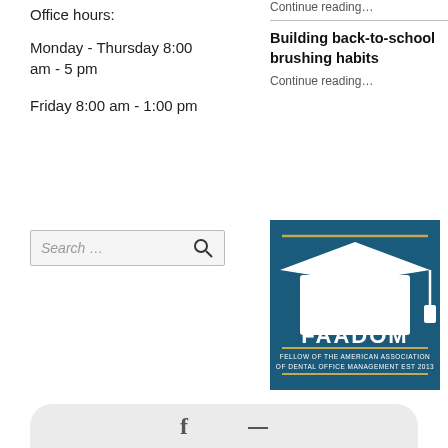Office hours:
Monday - Thursday 8:00 am - 5 pm
Friday 8:00 am - 1:00 pm
Continue reading…
Building back-to-school brushing habits
Continue reading…
[Figure (other): Search input field with placeholder text 'Search ...' and a magnifying glass icon]
[Figure (logo): FAADOM - Fellow of the American Association of Dental Office Management logo, blue background with white graduation cap]